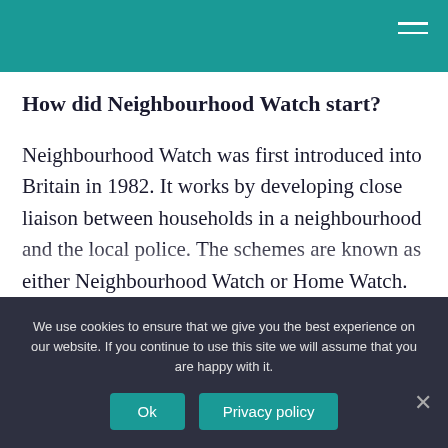How did Neighbourhood Watch start?
Neighbourhood Watch was first introduced into Britain in 1982. It works by developing close liaison between households in a neighbourhood and the local police. The schemes are known as either Neighbourhood Watch or Home Watch. Schemes run themselves, and they do not have to register
We use cookies to ensure that we give you the best experience on our website. If you continue to use this site we will assume that you are happy with it.
Ok
Privacy policy